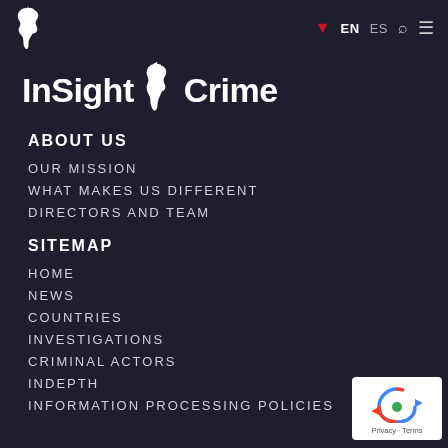EN  ES  [search] [menu]
InSight Crime
ABOUT US
OUR MISSION
WHAT MAKES US DIFFERENT
DIRECTORS AND TEAM
SITEMAP
HOME
NEWS
COUNTRIES
INVESTIGATIONS
CRIMINAL ACTORS
INDEPTH
INFORMATION PROCESSING POLICIES
[Figure (logo): reCAPTCHA badge with Privacy and Terms links]